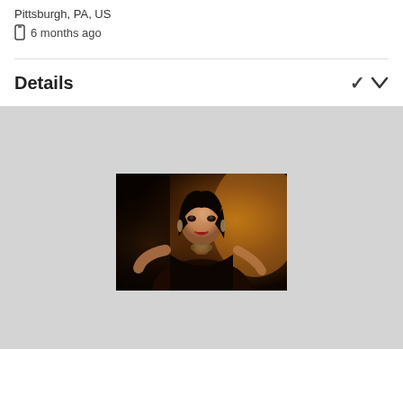Pittsburgh, PA, US
6 months ago
Details
[Figure (photo): A woman with dark hair wearing earrings and a dark outfit, posed in a dramatic low-light setting with warm amber/brown tones in the background]